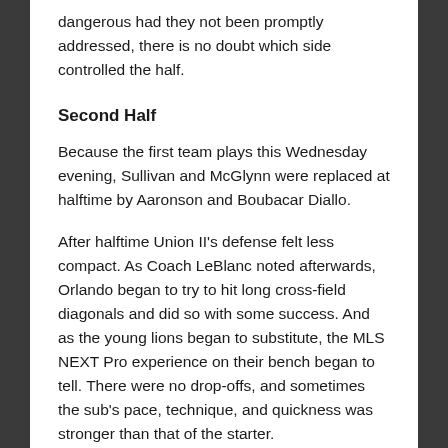dangerous had they not been promptly addressed, there is no doubt which side controlled the half.
Second Half
Because the first team plays this Wednesday evening, Sullivan and McGlynn were replaced at halftime by Aaronson and Boubacar Diallo.
After halftime Union II's defense felt less compact. As Coach LeBlanc noted afterwards, Orlando began to try to hit long cross-field diagonals and did so with some success. And as the young lions began to substitute, the MLS NEXT Pro experience on their bench began to tell. There were no drop-offs, and sometimes the sub's pace, technique, and quickness was stronger than that of the starter.
Aaronson's goal temporarily dampened the lion cubs' enthusiasm and success, but Orlando did come back into the match. After Darboe went off in the 72nd, Orlando began to enjoy long stretches of possession. Freese became to be